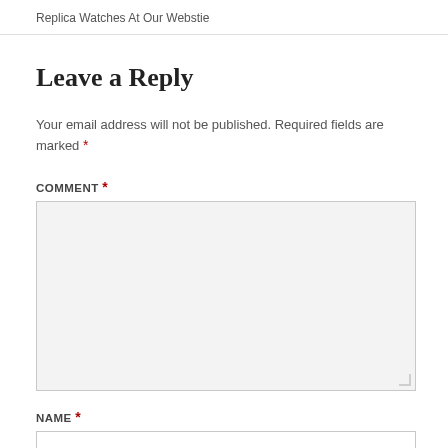Replica Watches At Our Webstie
Leave a Reply
Your email address will not be published. Required fields are marked *
COMMENT *
NAME *